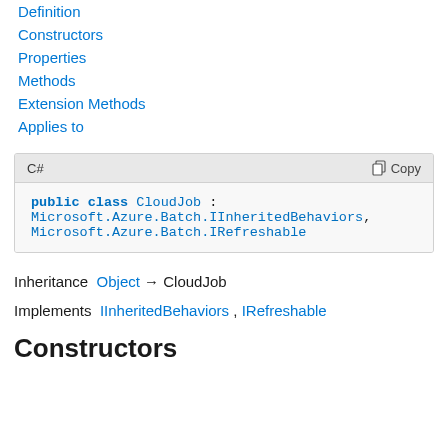Definition
Constructors
Properties
Methods
Extension Methods
Applies to
C#  Copy
public class CloudJob :
Microsoft.Azure.Batch.IInheritedBehaviors,
Microsoft.Azure.Batch.IRefreshable
Inheritance  Object → CloudJob
Implements  IInheritedBehaviors , IRefreshable
Constructors